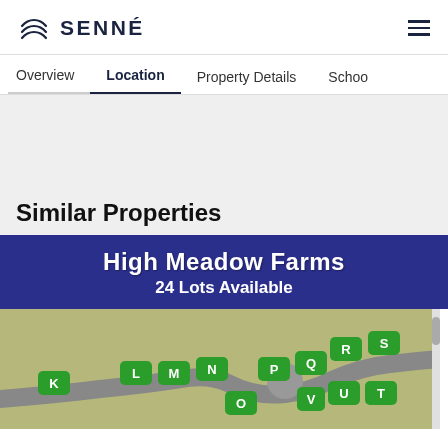SENNÉ
Overview  Location  Property Details  Schools
Similar Properties
[Figure (other): Property card for High Meadow Farms showing a dark blue banner with text 'High Meadow Farms 24 Lots Available' and a map below showing lettered green lot markers (K, L, M, N, O, P, Q, R, S, T, U, V) on a tan/green background with gray roads.]